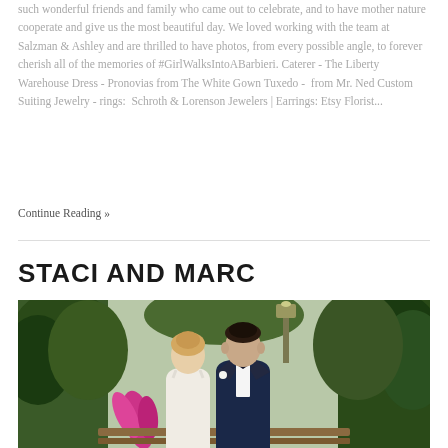such wonderful friends and family who came out to celebrate, and to have mother nature cooperate and give us the most beautiful day. We loved working with the team at Salzman & Ashley and are thrilled to have photos, from every possible angle, to forever cherish all of the memories of #GirlWalksIntoABarbieri. Caterer - The Liberty Warehouse Dress - Pronovias from The White Gown Tuxedo -  from Mr. Ned Custom Suiting Jewelry - rings:  Schroth & Lorenson Jewelers | Earrings: Etsy Florist...
Continue Reading »
STACI AND MARC
[Figure (photo): Wedding photo of couple (blonde woman in white dress and man in dark tuxedo) outdoors with green foliage background and a lamp post]